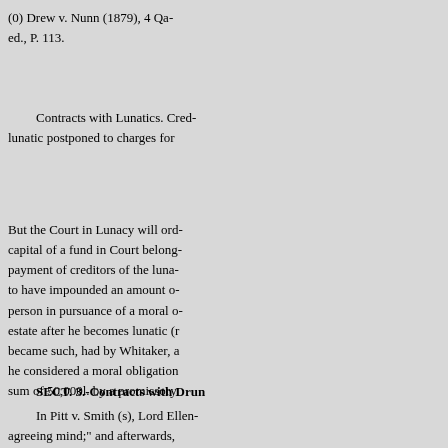(0) Drew v. Nunn (1879), 4 Qa- ed., P. 113.
Contracts with Lunatics. Cred- lunatic postponed to charges for
But the Court in Lunacy will ord- capital of a fund in Court belong- payment of creditors of the luna- to have impounded an amount o- person in pursuance of a moral o- estate after he becomes lunatic (r became such, had by Whitaker, a he considered a moral obligation sum of 50,000l. by a promissory
SECT. 3.-Contracts with Drun
In Pitt v. Smith (s), Lord Ellen- agreeing mind;" and afterwards, when he signed what the defend-